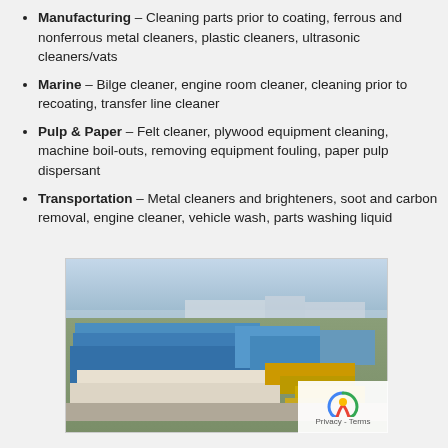Manufacturing – Cleaning parts prior to coating, ferrous and nonferrous metal cleaners, plastic cleaners, ultrasonic cleaners/vats
Marine – Bilge cleaner, engine room cleaner, cleaning prior to recoating, transfer line cleaner
Pulp & Paper – Felt cleaner, plywood equipment cleaning, machine boil-outs, removing equipment fouling, paper pulp dispersant
Transportation – Metal cleaners and brighteners, soot and carbon removal, engine cleaner, vehicle wash, parts washing liquid
[Figure (photo): Aerial view of a large industrial facility with blue-roofed warehouse buildings, storage yards, and surrounding infrastructure]